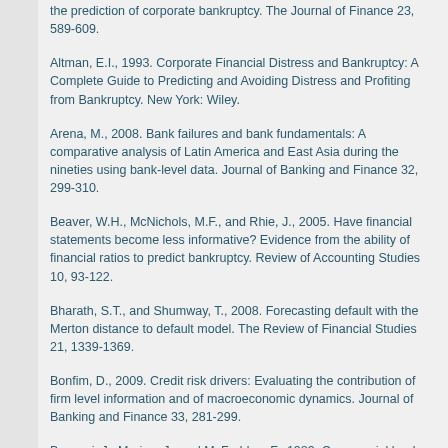the prediction of corporate bankruptcy. The Journal of Finance 23, 589-609.
Altman, E.I., 1993. Corporate Financial Distress and Bankruptcy: A Complete Guide to Predicting and Avoiding Distress and Profiting from Bankruptcy. New York: Wiley.
Arena, M., 2008. Bank failures and bank fundamentals: A comparative analysis of Latin America and East Asia during the nineties using bank-level data. Journal of Banking and Finance 32, 299-310.
Beaver, W.H., McNichols, M.F., and Rhie, J., 2005. Have financial statements become less informative? Evidence from the ability of financial ratios to predict bankruptcy. Review of Accounting Studies 10, 93-122.
Bharath, S.T., and Shumway, T., 2008. Forecasting default with the Merton distance to default model. The Review of Financial Studies 21, 1339-1369.
Bonfim, D., 2009. Credit risk drivers: Evaluating the contribution of firm level information and of macroeconomic dynamics. Journal of Banking and Finance 33, 281-299.
Bovenzi, J., Marino, J., and McFadden, F., 1983. Commercial bank failure prediction models. Economic Review, Federal Reserve Bank of Atlanta (November), 27-34.